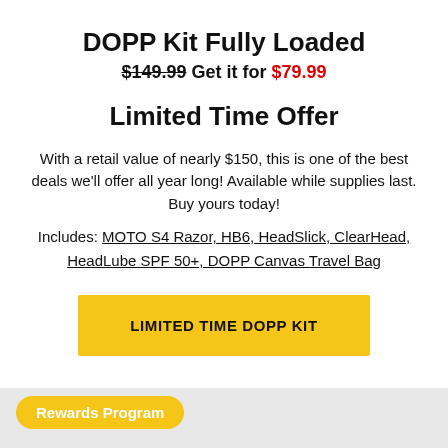DOPP Kit Fully Loaded
$149.99 Get it for $79.99
Limited Time Offer
With a retail value of nearly $150, this is one of the best deals we'll offer all year long! Available while supplies last. Buy yours today!
Includes: MOTO S4 Razor, HB6, HeadSlick, ClearHead, HeadLube SPF 50+, DOPP Canvas Travel Bag
LIMITED TIME DOPP KIT
Rewards Program